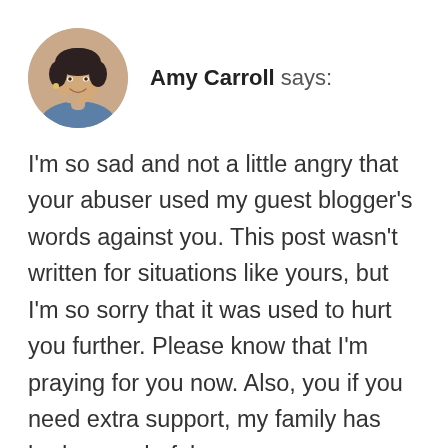[Figure (photo): Circular avatar photo of Amy Carroll, a woman with short dark hair, smiling, wearing a denim jacket]
Amy Carroll says:
I'm so sad and not a little angry that your abuser used my guest blogger's words against you. This post wasn't written for situations like yours, but I'm so sorry that it was used to hurt you further. Please know that I'm praying for you now. Also, you if you need extra support, my family has had a wonderful